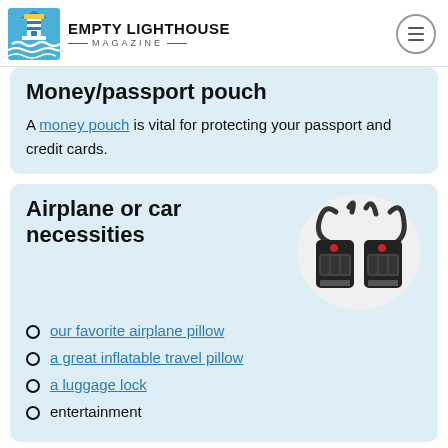EMPTY LIGHTHOUSE MAGAZINE
Money/passport pouch
A money pouch is vital for protecting your passport and credit cards.
Airplane or car necessities
[Figure (photo): Two black TSA combination luggage locks with cable shackles]
our favorite airplane pillow
a great inflatable travel pillow
a luggage lock
entertainment